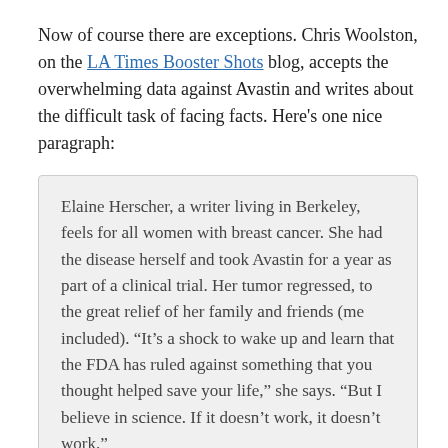Now of course there are exceptions. Chris Woolston, on the LA Times Booster Shots blog, accepts the overwhelming data against Avastin and writes about the difficult task of facing facts. Here's one nice paragraph:
Elaine Herscher, a writer living in Berkeley, feels for all women with breast cancer. She had the disease herself and took Avastin for a year as part of a clinical trial. Her tumor regressed, to the great relief of her family and friends (me included). “It’s a shock to wake up and learn that the FDA has ruled against something that you thought helped save your life,” she says. “But I believe in science. If it doesn’t work, it doesn’t work.”
But far more typical is this Reuters story, which simply